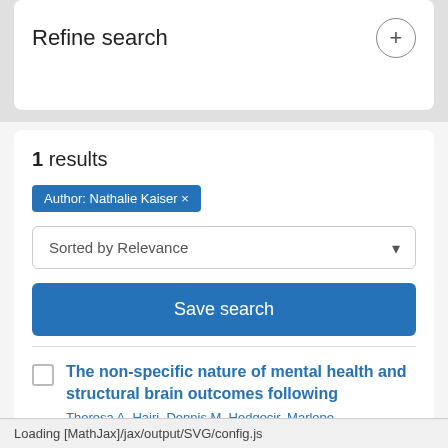Refine search
1 results
Author: Nathalie Kaiser ×
Sorted by Relevance
Save search
The non-specific nature of mental health and structural brain outcomes following
Loading [MathJax]/jax/output/SVG/config.js